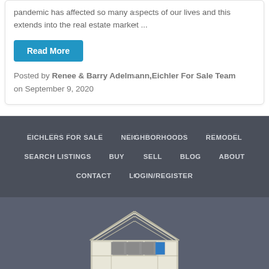pandemic has affected so many aspects of our lives and this extends into the real estate market ...
Read More
Posted by Renee & Barry Adelmann,Eichler For Sale Team
on September 9, 2020
EICHLERS FOR SALE   NEIGHBORHOODS   REMODEL   SEARCH LISTINGS   BUY   SELL   BLOG   ABOUT   CONTACT   LOGIN/REGISTER
[Figure (logo): Eichler For Sale house logo — stylized house outline with roof lines, garage door with blue panel, cream/beige facade, with text EICHLER FOR SALE .COM below]